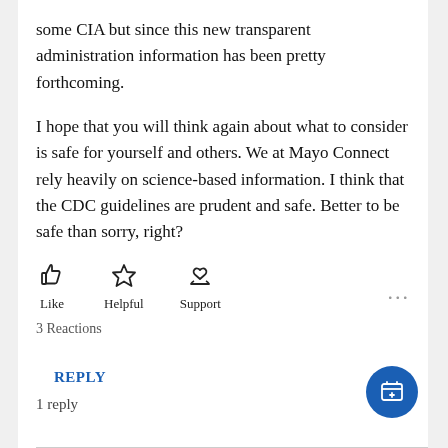some CIA but since this new transparent administration information has been pretty forthcoming.
I hope that you will think again about what to consider is safe for yourself and others. We at Mayo Connect rely heavily on science-based information. I think that the CDC guidelines are prudent and safe. Better to be safe than sorry, right?
[Figure (other): Three reaction buttons: Like (thumbs up icon), Helpful (star icon), Support (hands with heart icon), and a more options (...) button]
3 Reactions
REPLY
1 reply